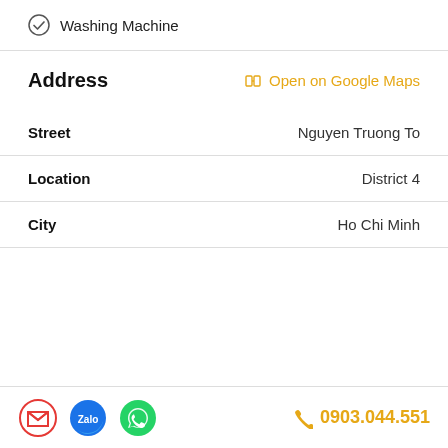Washing Machine
Address
Open on Google Maps
| Field | Value |
| --- | --- |
| Street | Nguyen Truong To |
| Location | District 4 |
| City | Ho Chi Minh |
0903.044.551